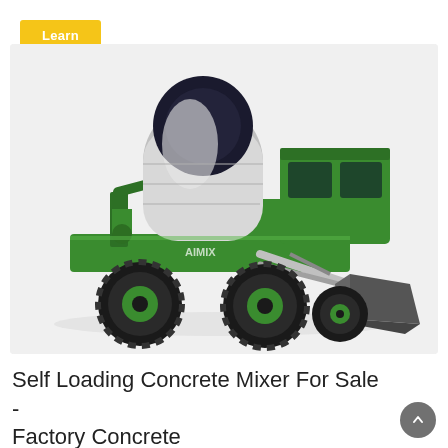Learn More
[Figure (photo): A green self-loading concrete mixer truck with a rotating drum on the back, a front-loading bucket/shovel, large off-road tires, and an operator cab. The vehicle is green with dark wheel rims and a silver/white mixing drum. Photographed on a light grey background.]
Self Loading Concrete Mixer For Sale - Factory Concrete